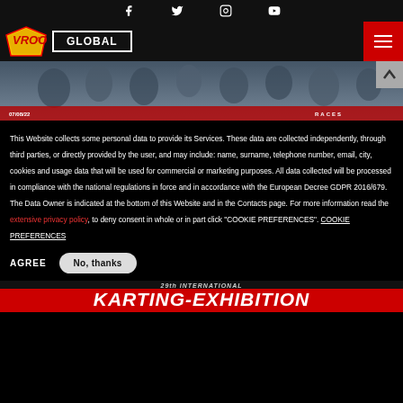Social media icons: Facebook, Twitter, Instagram, YouTube
VROO!! GLOBAL — navigation bar with hamburger menu
[Figure (photo): Group photo of karting competitors holding trophies and flags at an award ceremony. Red banner overlay at bottom with date 07/08/22 and category RACES.]
This Website collects some personal data to provide its Services. These data are collected independently, through third parties, or directly provided by the user, and may include: name, surname, telephone number, email, city, cookies and usage data that will be used for commercial or marketing purposes. All data collected will be processed in compliance with the national regulations in force and in accordance with the European Decree GDPR 2016/679. The Data Owner is indicated at the bottom of this Website and in the Contacts page. For more information read the extensive privacy policy, to deny consent in whole or in part click "COOKIE PREFERENCES". COOKIE PREFERENCES
AGREE   No, thanks
[Figure (photo): Bottom banner: 29th INTERNATIONAL KARTING-EXHIBITION text on dark/red background]